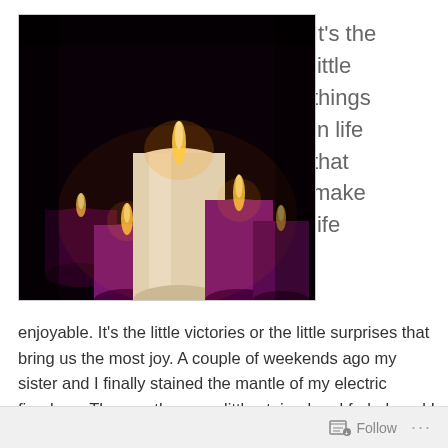[Figure (photo): Photograph of several lit candles — one tall white/cream pillar candle in the center surrounded by shorter purple/magenta pillar candles, all glowing against a dark black background.]
It's the little things in life that make life
enjoyable. It's the little victories or the little surprises that bring us the most joy. A couple of weekends ago my sister and I finally stained the mantle of my electric fireplace. The mantle was a little stained and faded, and I had purchased the supplies for the project over a year
Follow ···